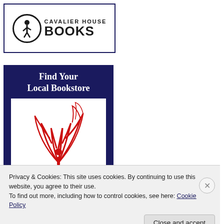[Figure (logo): Cavalier House Books logo: circular emblem with walking figure silhouette, text 'CAVALIER HOUSE' above 'BOOKS' in bold, inside a dark-bordered rectangle]
[Figure (illustration): IndieBound banner: dark navy blue background with white serif text 'Find Your Local Bookstore', white box containing red IndieBound logo (stylized hand/pages graphic), and bold text 'INDIE' at bottom]
Privacy & Cookies: This site uses cookies. By continuing to use this website, you agree to their use.
To find out more, including how to control cookies, see here: Cookie Policy
Close and accept